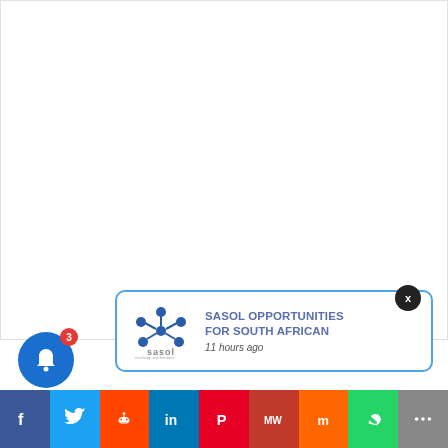[Figure (other): Large white content area / blank page area]
[Figure (other): Sasol notification popup card with logo, title 'SASOL OPPORTUNITIES FOR SOUTH AFRICAN', and timestamp '11 hours ago']
SASOL OPPORTUNITIES FOR SOUTH AFRICAN
11 hours ago
[Figure (other): Social share bar with icons: Facebook, Twitter, Reddit, LinkedIn, Pinterest, MeWe, Mix, WhatsApp, More]